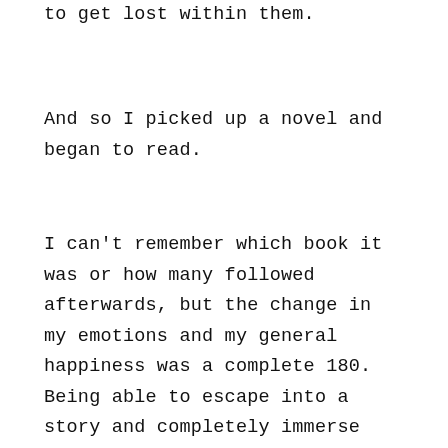to get lost within them.
And so I picked up a novel and began to read.
I can't remember which book it was or how many followed afterwards, but the change in my emotions and my general happiness was a complete 180. Being able to escape into a story and completely immerse and invest myself in the novel's narrative was something that I definitely took for granted. I remember being completely awed at how quickly I finished that first book I had read after